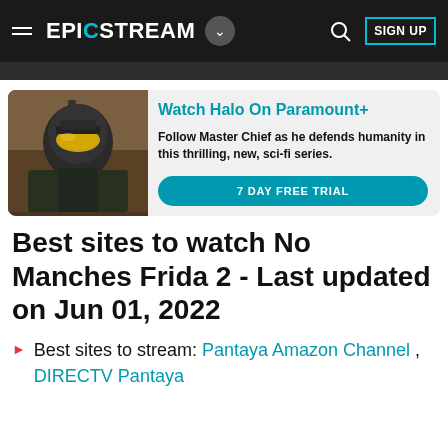EPICSTREAM — navigation bar with hamburger menu, logo, dropdown, search and SIGN UP
[Figure (screenshot): Halo Master Chief armor character promotional image for Paramount+]
Watch Halo On Paramount+
Follow Master Chief as he defends humanity in this thrilling, new, sci-fi series.
7 DAY FREE TRIAL
Best sites to watch No Manches Frida 2 - Last updated on Jun 01, 2022
Best sites to stream: Pantaya Amazon Channel , DIRECTV Pantaya